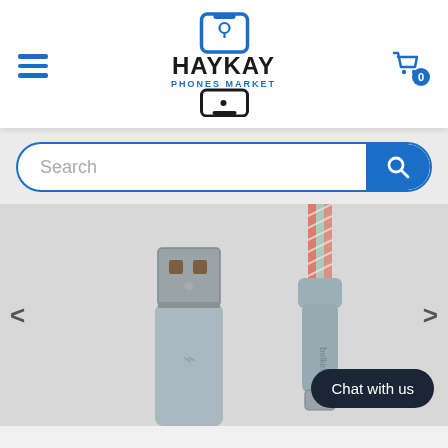[Figure (logo): HayKay Phones Market logo with stylized phone icon and blue text]
[Figure (screenshot): Search bar with blue border and search button]
[Figure (photo): Product photo showing a USB-A to USB-C cable with light blue/grey connectors and braided cable. Left side shows USB-A connector, right side shows USB-C connector end with braided cable. 'Chat with us' button overlay visible.]